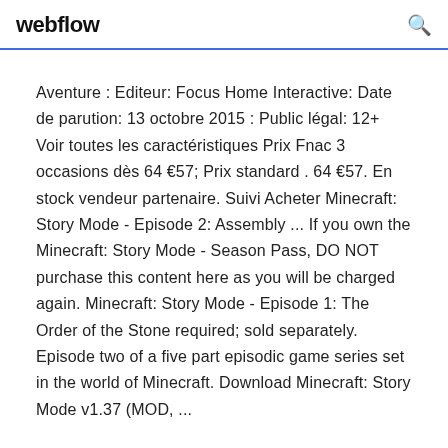webflow
Aventure : Editeur: Focus Home Interactive: Date de parution: 13 octobre 2015 : Public légal: 12+ Voir toutes les caractéristiques Prix Fnac 3 occasions dès 64 €57; Prix standard . 64 €57. En stock vendeur partenaire. Suivi Acheter Minecraft: Story Mode - Episode 2: Assembly ... If you own the Minecraft: Story Mode - Season Pass, DO NOT purchase this content here as you will be charged again. Minecraft: Story Mode - Episode 1: The Order of the Stone required; sold separately. Episode two of a five part episodic game series set in the world of Minecraft. Download Minecraft: Story Mode v1.37 (MOD, ...